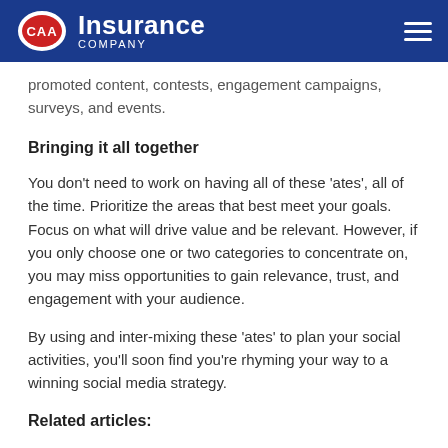CAA Insurance Company
promoted content, contests, engagement campaigns, surveys, and events.
Bringing it all together
You don't need to work on having all of these 'ates', all of the time. Prioritize the areas that best meet your goals. Focus on what will drive value and be relevant. However, if you only choose one or two categories to concentrate on, you may miss opportunities to gain relevance, trust, and engagement with your audience.
By using and inter-mixing these 'ates' to plan your social activities, you'll soon find you're rhyming your way to a winning social media strategy.
Related articles:
Your marketing content - finding the right balance